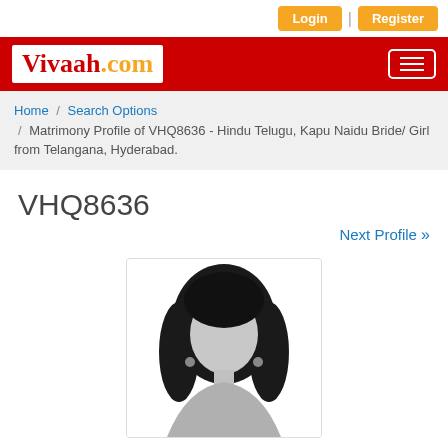Login | Register
Vivaah.com
Home / Search Options / Matrimony Profile of VHQ8636 - Hindu Telugu, Kapu Naidu Bride/ Girl from Telangana, Hyderabad.
VHQ8636
Next Profile »
[Figure (illustration): Default female silhouette profile photo placeholder — grayscale illustration of a woman with black hair and earrings.]